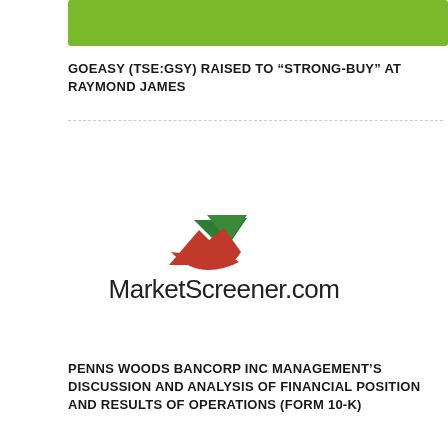[Figure (other): Green decorative bar at top of page]
GOEASY (TSE:GSY) RAISED TO “STRONG-BUY” AT RAYMOND JAMES
[Figure (logo): MarketScreener.com logo with red and green triangular arrow graphic above the text]
PENNS WOODS BANCORP INC MANAGEMENT’S DISCUSSION AND ANALYSIS OF FINANCIAL POSITION AND RESULTS OF OPERATIONS (FORM 10-K)